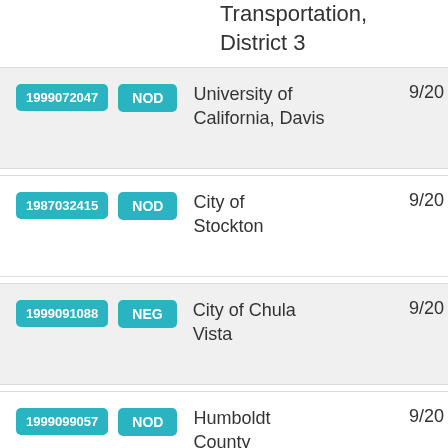Transportation, District 3
1999072047 | NOD | University of California, Davis | 9/20
1987032415 | NOD | City of Stockton | 9/20
1999091088 | NEG | City of Chula Vista | 9/20
1999099057 | NOD | Humboldt County | 9/20